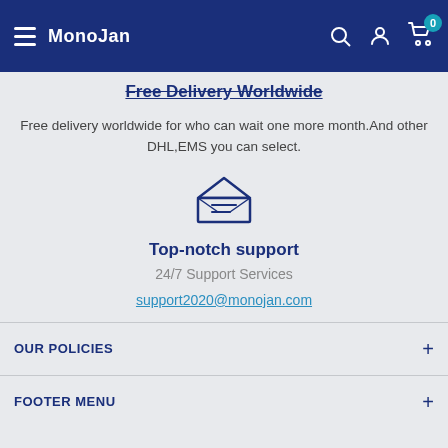MonoJan
Free Delivery Worldwide
Free delivery worldwide for who can wait one more month.And other DHL,EMS you can select.
[Figure (illustration): Open envelope icon with lines representing a letter, drawn in dark blue outline style]
Top-notch support
24/7 Support Services
support2020@monojan.com
OUR POLICIES
FOOTER MENU